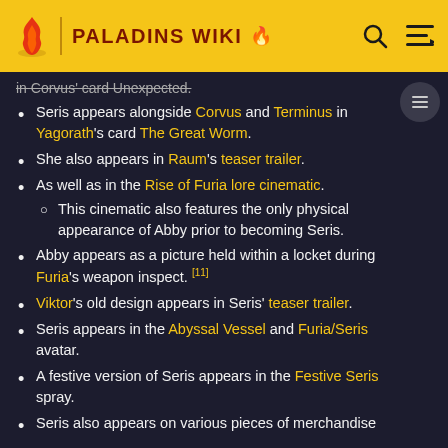PALADINS WIKI
in Corvus' card Unexpected.
Seris appears alongside Corvus and Terminus in Yagorath's card The Great Worm.
She also appears in Raum's teaser trailer.
As well as in the Rise of Furia lore cinematic.
This cinematic also features the only physical appearance of Abby prior to becoming Seris.
Abby appears as a picture held within a locket during Furia's weapon inspect. [11]
Viktor's old design appears in Seris' teaser trailer.
Seris appears in the Abyssal Vessel and Furia/Seris avatar.
A festive version of Seris appears in the Festive Seris spray.
Seris also appears on various pieces of merchandise